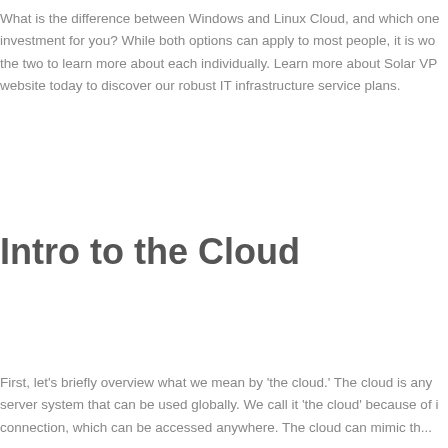What is the difference between Windows and Linux Cloud, and which one is the right investment for you? While both options can apply to most people, it is worth comparing the two to learn more about each individually. Learn more about Solar VPS on our website today to discover our robust IT infrastructure service plans.
Intro to the Cloud
First, let's briefly overview what we mean by 'the cloud.' The cloud is any internet server system that can be used globally. We call it 'the cloud' because of its connection, which can be accessed anywhere. The cloud can mimic the...